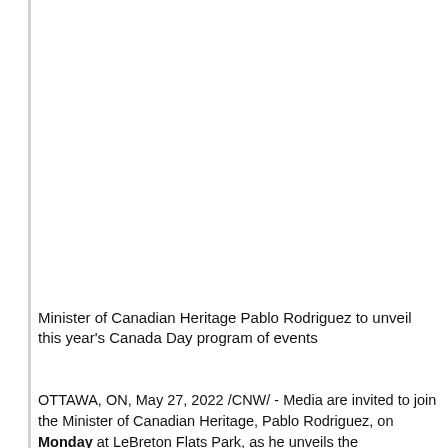Minister of Canadian Heritage Pablo Rodriguez to unveil this year's Canada Day program of events
OTTAWA, ON, May 27, 2022 /CNW/ - Media are invited to join the Minister of Canadian Heritage, Pablo Rodriguez, on Monday at LeBreton Flats Park, as he unveils the programming for Canada Day celebrations in Canada's Capital Region. The event will begin outside and conclude in the Barney Danson Theatre inside the Canadian War Museum.